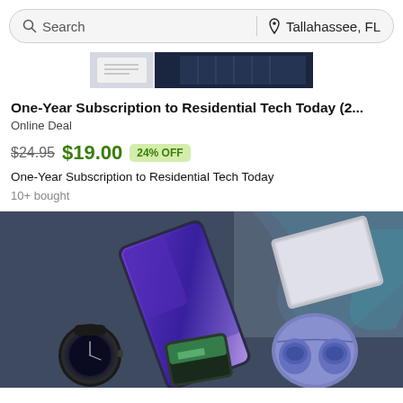Search | Tallahassee, FL
[Figure (photo): Partial product listing image at top, cropped view of product packaging with dark background]
One-Year Subscription to Residential Tech Today (2...
Online Deal
$24.95 $19.00 24% OFF
One-Year Subscription to Residential Tech Today
10+ bought
[Figure (photo): Samsung electronics product photo showing Galaxy Note phone, Galaxy watch, Galaxy Buds earbuds case, and other devices on dark blue background]